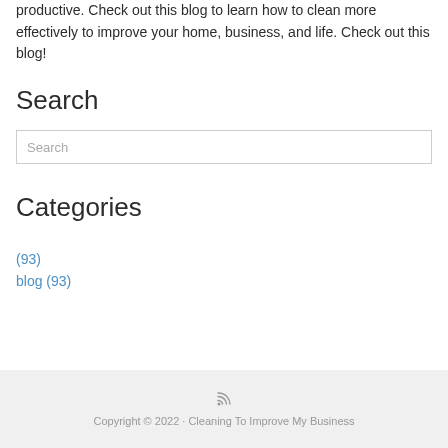productive. Check out this blog to learn how to clean more effectively to improve your home, business, and life. Check out this blog!
Search
Search
Categories
(93)
blog (93)
Copyright © 2022 · Cleaning To Improve My Business